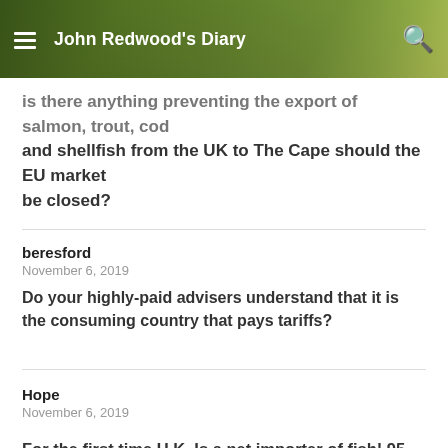John Redwood's Diary
is there anything preventing the export of salmon, trout, cod and shellfish from the UK to The Cape should the EU market be closed?
beresford
November 6, 2019

Do your highly-paid advisers understand that it is the consuming country that pays tariffs?
Hope
November 6, 2019

For the first time U.K. Is a net importer of fish! 95 percent of